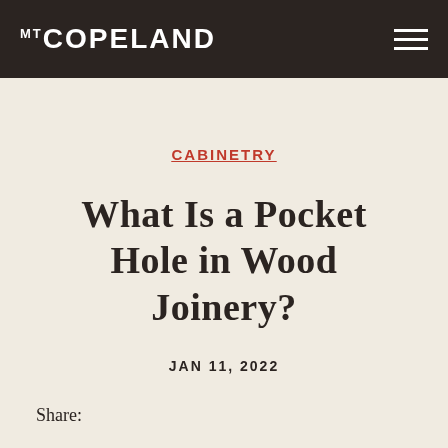MT COPELAND
CABINETRY
What Is a Pocket Hole in Wood Joinery?
JAN 11, 2022
Share: